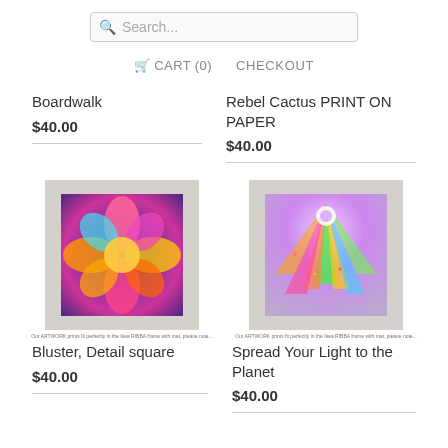Search...
CART (0)   CHECKOUT
Boardwalk
$40.00
Rebel Cactus PRINT ON PAPER
$40.00
[Figure (photo): Framed colorful abstract art print - Bluster Detail square, with vibrant blue, pink, orange, teal flower/petal design]
[Figure (photo): Framed colorful abstract art print - Spread Your Light to the Planet, with purple, green, orange radiant light design]
Bluster, Detail square
$40.00
Spread Your Light to the Planet
$40.00